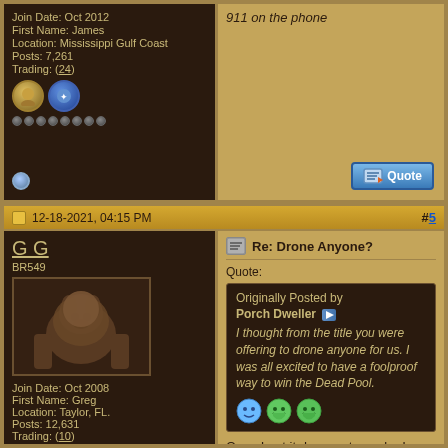911 on the phone
Join Date: Oct 2012
First Name: James
Location: Mississippi Gulf Coast
Posts: 7,261
Trading: (24)
12-18-2021, 04:15 PM
#5
G G
BR549
Join Date: Oct 2008
First Name: Greg
Location: Taylor, FL.
Posts: 12,631
Trading: (10)
Re: Drone Anyone?
Quote:
Originally Posted by Porch Dweller
I thought from the title you were offering to drone anyone for us. I was all excited to have a foolproof way to win the Dead Pool.
Once I get it down pat, maybe I could drop a knife from the